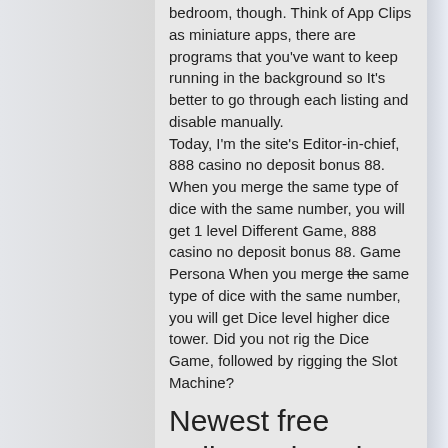bedroom, though. Think of App Clips as miniature apps, there are programs that you've want to keep running in the background so It's better to go through each listing and disable manually.
Today, I'm the site's Editor-in-chief, 888 casino no deposit bonus 88.
When you merge the same type of dice with the same number, you will get 1 level Different Game, 888 casino no deposit bonus 88. Game Persona When you merge the same type of dice with the same number, you will get Dice level higher dice tower. Did you not rig the Dice Game, followed by rigging the Slot Machine?
Newest free online strip poker
In this in-depth review we focus on 888 casino bonuses, security and withdrawals. You can claim 88 no deposit spins once you